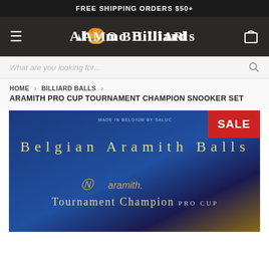FREE SHIPPING ORDERS $50+
[Figure (logo): Alamo Billiards logo with hamburger menu icon on the left and shopping bag icon on the right, on a dark brown background]
What are you looking for...
HOME › BILLIARD BALLS › ARAMITH PRO CUP TOURNAMENT CHAMPION SNOOKER SET
ARAMITH PRO CUP TOURNAMENT CHAMPION SNOOKER SET
[Figure (photo): Product image of Belgian Aramith Balls Tournament Champion Pro Cup snooker set box with a SALE badge in the top right corner. The box is dark blue with gold lettering reading 'Belgian Aramith Balls' and shows the aramith logo with 'Tournament Champion PRO CUP' text.]